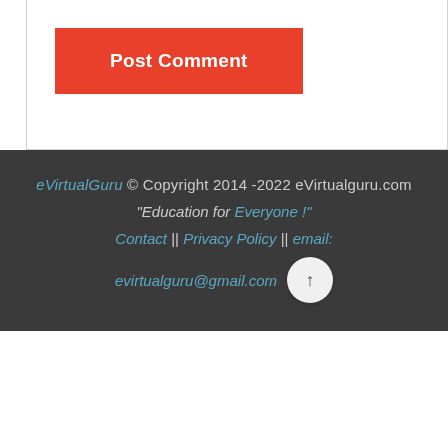[Figure (screenshot): Post Comment button — red rectangle with white bold text]
eVirtualGuru © Copyright 2014 -2022 eVirtualguru.com "Education for Everyone !" Contact || Privacy Policy || email: evirtualguru@gmail.com